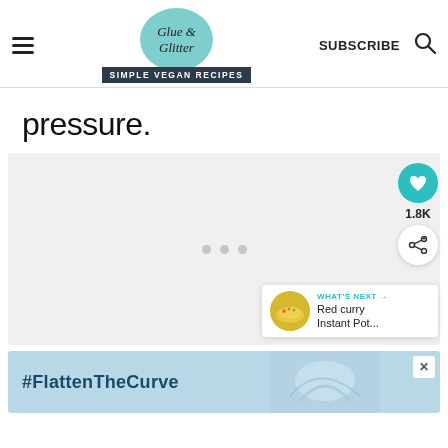Glue & Glitter | SIMPLE VEGAN RECIPES | SUBSCRIBE
pressure.
[Figure (screenshot): Light gray content/ad placeholder area with three loading dots in the center. Social sidebar on the right with a teal heart button showing 1.8K, and a white share button. A 'WHAT'S NEXT' panel in the bottom right showing Red curry Instant Pot...]
[Figure (screenshot): Banner advertisement with light blue background showing '#FlattenTheCurve' text and hands washing under water, with an X close button.]